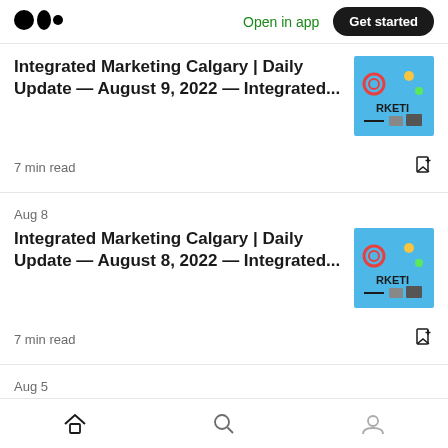Medium logo | Open in app | Get started
Integrated Marketing Calgary | Daily Update — August 9, 2022 — Integrated...
7 min read
Aug 8
Integrated Marketing Calgary | Daily Update — August 8, 2022 — Integrated...
7 min read
Aug 5
Integrated Marketing Calgary | Daily
Home | Search | Profile